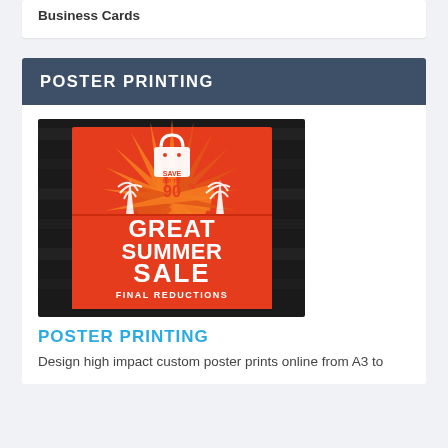Business Cards
POSTER PRINTING
[Figure (photo): A promotional poster showing a Great Summer Sale advertisement with red background, sunburst pattern, and text: SAVE UP TO 90%, GREAT SUMMER SALE, FINAL REDUCTIONS]
POSTER PRINTING
Design high impact custom poster prints online from A3 to